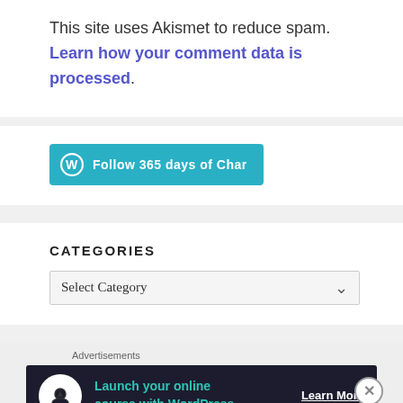This site uses Akismet to reduce spam. Learn how your comment data is processed.
[Figure (other): WordPress Follow button: 'Follow 365 days of Char' teal/cyan rounded button with WordPress logo icon]
CATEGORIES
Select Category dropdown
[Figure (other): Advertisement banner: dark navy background, white circle icon with upload/person symbol, teal text 'Launch your online course with WordPress', white underlined 'Learn More' button. Labeled 'Advertisements' above.]